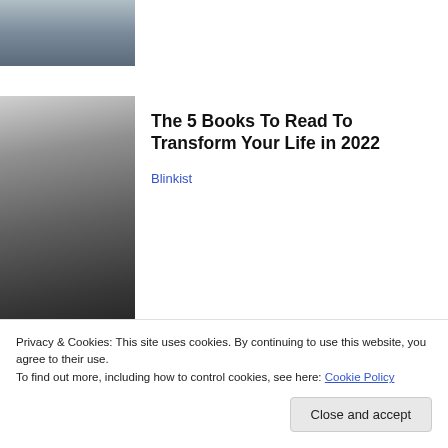[Figure (photo): Partial photo of a person, cropped at top of page, sitting, light blue background]
[Figure (photo): Black and white portrait of a young man with long hair and round glasses]
The 5 Books To Read To Transform Your Life in 2022
Blinkist
[Figure (photo): Color photo of two people with sunglasses seated in what appears to be a stadium or event venue with green and tan seating]
Privacy & Cookies: This site uses cookies. By continuing to use this website, you agree to their use.
To find out more, including how to control cookies, see here: Cookie Policy
Close and accept